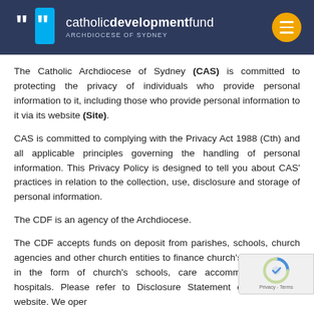catholicdevelopmentfund ARCHDIOCESE OF SYDNEY
The Catholic Archdiocese of Sydney (CAS) is committed to protecting the privacy of individuals who provide personal information to it, including those who provide personal information to it via its website (Site).
CAS is committed to complying with the Privacy Act 1988 (Cth) and all applicable principles governing the handling of personal information. This Privacy Policy is designed to tell you about CAS' practices in relation to the collection, use, disclosure and storage of personal information.
The CDF is an agency of the Archdiocese.
The CDF accepts funds on deposit from parishes, schools, church agencies and other church entities to finance church's capital works in the form of church's schools, care accommodations and hospitals. Please refer to Disclosure Statement on the CDF's website. We operate